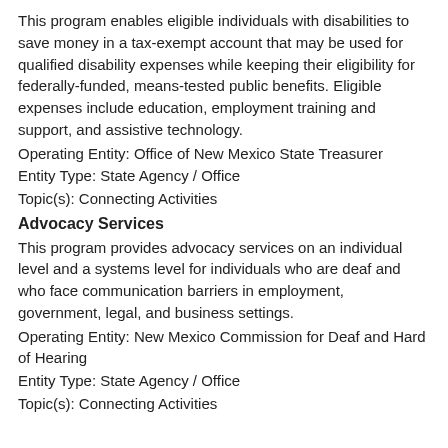This program enables eligible individuals with disabilities to save money in a tax-exempt account that may be used for qualified disability expenses while keeping their eligibility for federally-funded, means-tested public benefits. Eligible expenses include education, employment training and support, and assistive technology.
Operating Entity: Office of New Mexico State Treasurer
Entity Type: State Agency / Office
Topic(s): Connecting Activities
Advocacy Services
This program provides advocacy services on an individual level and a systems level for individuals who are deaf and who face communication barriers in employment, government, legal, and business settings.
Operating Entity: New Mexico Commission for Deaf and Hard of Hearing
Entity Type: State Agency / Office
Topic(s): Connecting Activities